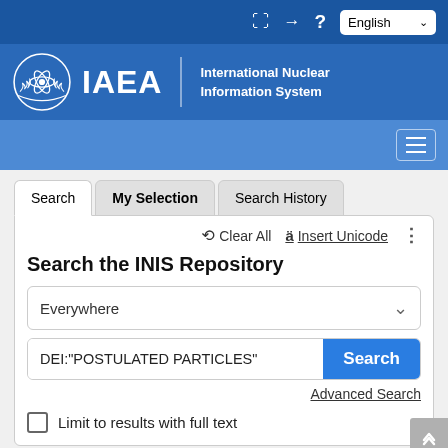[Figure (logo): IAEA logo and header with International Nuclear Information System branding on blue background]
Search | My Selection | Search History
Clear All   ä Insert Unicode   ⋮
Search the INIS Repository
Everywhere
DEI:"POSTULATED PARTICLES"
Advanced Search
Limit to results with full text